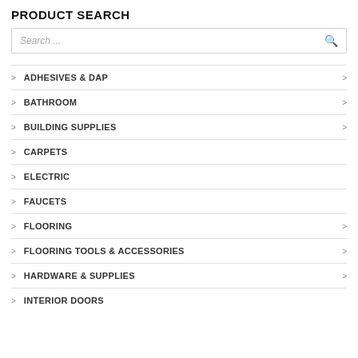PRODUCT SEARCH
[Figure (other): Search input box with placeholder text 'Search ...' and a search icon on the right]
ADHESIVES & DAP
BATHROOM
BUILDING SUPPLIES
CARPETS
ELECTRIC
FAUCETS
FLOORING
FLOORING TOOLS & ACCESSORIES
HARDWARE & SUPPLIES
INTERIOR DOORS